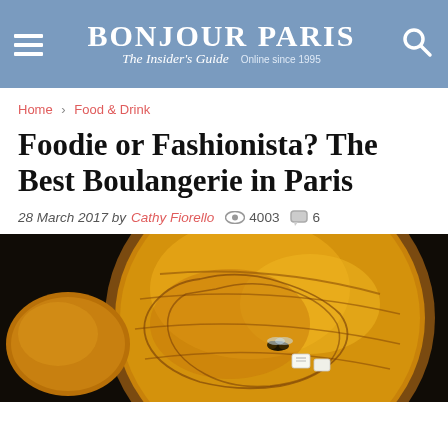BONJOUR PARIS — The Insider's Guide — Online since 1995
Home > Food & Drink
Foodie or Fashionista? The Best Boulangerie in Paris
28 March 2017 by Cathy Fiorello  4003  6
[Figure (photo): Close-up photo of a glazed round pastry/galette on a dark background, with a small decorative bee or insect visible on the surface and small white paper tags.]